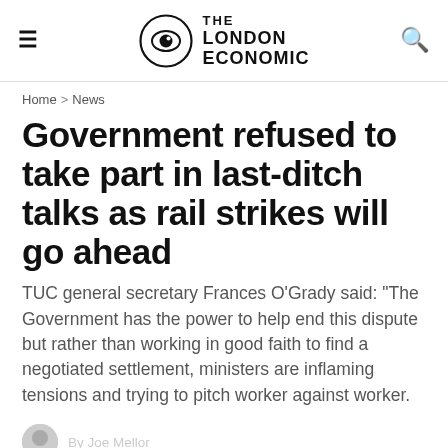THE LONDON ECONOMIC
Home > News
Government refused to take part in last-ditch talks as rail strikes will go ahead
TUC general secretary Frances O'Grady said: “The Government has the power to help end this dispute but rather than working in good faith to find a negotiated settlement, ministers are inflaming tensions and trying to pitch worker against worker.
By Joe Mellor